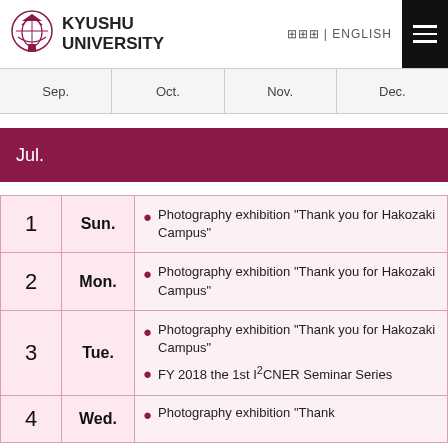Kyushu University | ENGLISH
| Sep. | Oct. | Nov. | Dec. |
| --- | --- | --- | --- |
Jul.
| Day | Weekday | Events |
| --- | --- | --- |
| 1 | Sun. | Photography exhibition "Thank you for Hakozaki Campus" |
| 2 | Mon. | Photography exhibition "Thank you for Hakozaki Campus" |
| 3 | Tue. | Photography exhibition "Thank you for Hakozaki Campus" | FY 2018 the 1st I²CNER Seminar Series |
| 4 | Wed. | Photography exhibition "Thank... |